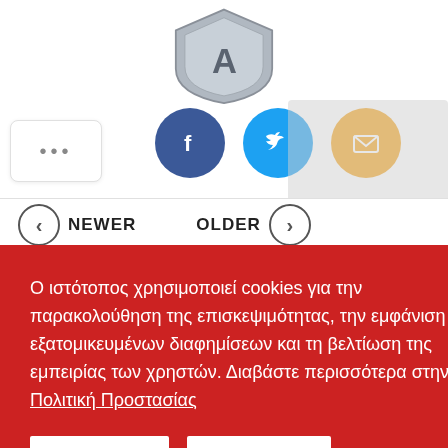[Figure (logo): A shield-shaped sports club logo in gray tones with the letter A in the center]
[Figure (infographic): Social sharing buttons row: Facebook (dark blue circle with f), Twitter (light blue circle with bird), Email (orange circle with envelope). Also a white rounded rectangle with three dots on the left.]
NEWER   OLDER
Ο ιστότοπος χρησιμοποιεί cookies για την παρακολούθηση της επισκεψιμότητας, την εμφάνιση εξατομικευμένων διαφημίσεων και τη βελτίωση της εμπειρίας των χρηστών. Διαβάστε περισσότερα στην Πολιτική Προστασίας
ΑΠΟΔΟΧΗ   ΑΠΟΡΡΙΨΗ
Ήταν Κυριακή 31 Μαΐου 1964 όταν ο Απόλλωνας Σερρών και ο